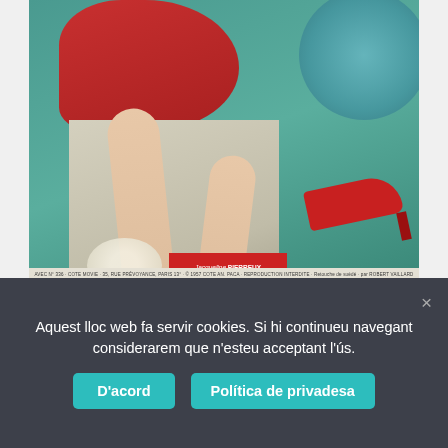[Figure (photo): Vintage pin-up style magazine photo showing a woman in a red outfit and red high heels seated on a white block/pedestal against a teal background. White flowers and a red label box reading 'Jacqueline PIERREUX' and 'Photo diffusée par Ciné-Révélation' are in the lower left. A small caption strip runs along the bottom of the image.]
Aquest lloc web fa servir cookies. Si hi continueu navegant considerarem que n'esteu acceptant l'ús.
D'acord
Política de privadesa